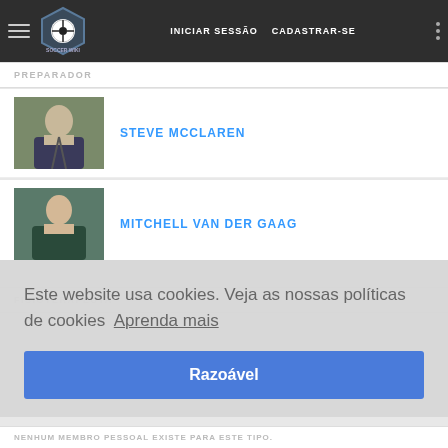INICIAR SESSÃO   CADASTRAR-SE
PREPARADOR
STEVE MCCLAREN
MITCHELL VAN DER GAAG
FISIOTERAPEUTA
Este website usa cookies. Veja as nossas políticas de cookies  Aprenda mais
Razoável
NENHUM MEMBRO PESSOAL EXISTE PARA ESTE TIPO.